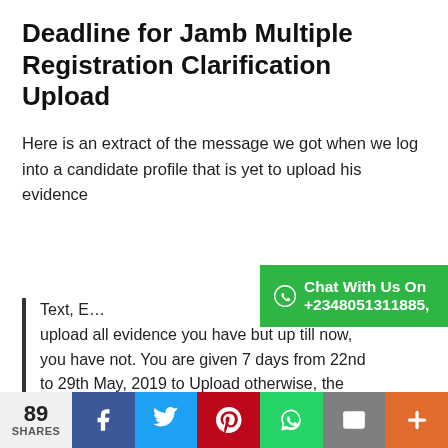Deadline for Jamb Multiple Registration Clarification Upload
Here is an extract of the message we got when we log into a candidate profile that is yet to upload his evidence
Chat With Us On +2348051311885,
Text, E[...] upload all evidence you have but up till now, you have not. You are given 7 days from 22nd to 29th May, 2019 to Upload otherwise, the Board will take appropriate decision on your application/examination.
89 SHARES  Facebook  Twitter  Pinterest  WhatsApp  Email  +